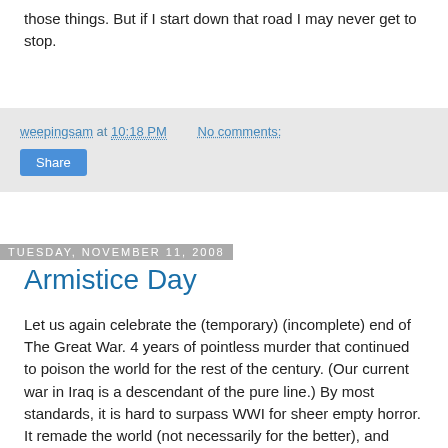those things. But if I start down that road I may never get to stop.
weepingsam at 10:18 PM   No comments:
Share
Tuesday, November 11, 2008
Armistice Day
Let us again celebrate the (temporary) (incomplete) end of The Great War. 4 years of pointless murder that continued to poison the world for the rest of the century. (Our current war in Iraq is a descendant of the pure line.) By most standards, it is hard to surpass WWI for sheer empty horror. It remade the world (not necessarily for the better), and remade the human mind, again - not necessarily for the better... Though as a naked lunch moment, it probably did its share of good, revealing the pervasive corruption in the world before the war. It's hard to claim innocence in anything after 1914, or to